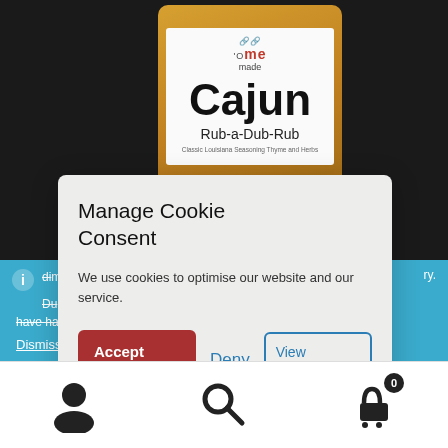[Figure (photo): Product photo of 'Ome Made Cajun Rub-a-Dub-Rub spice jar on dark background]
di... have had a small price increase of no more than 4%
Dismiss
Manage Cookie Consent
We use cookies to optimise our website and our service.
Accept cookies
Deny
View preferences